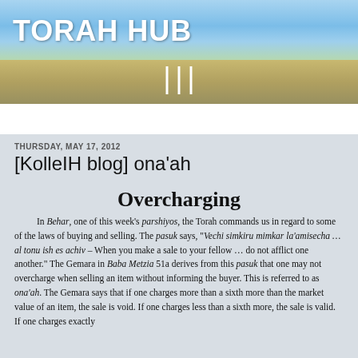TORAH HUB
Home
THURSDAY, MAY 17, 2012
[KolleIH blog] ona'ah
Overcharging
In Behar, one of this week's parshiyos, the Torah commands us in regard to some of the laws of buying and selling. The pasuk says, "Vechi simkiru mimkar la'amisecha … al tonu ish es achiv – When you make a sale to your fellow … do not afflict one another." The Gemara in Baba Metzia 51a derives from this pasuk that one may not overcharge when selling an item without informing the buyer. This is referred to as ona'ah. The Gemara says that if one charges more than a sixth more than the market value of an item, the sale is void. If one charges less than a sixth more, the sale is valid. If one charges exactly